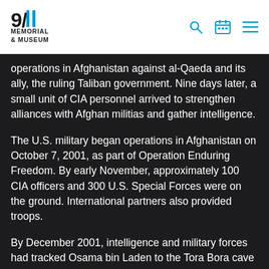9/11 MEMORIAL & MUSEUM
operations in Afghanistan against al-Qaeda and its ally, the ruling Taliban government. Nine days later, a small unit of CIA personnel arrived to strengthen alliances with Afghan militias and gather intelligence.
The U.S. military began operations in Afghanistan on October 7, 2001, as part of Operation Enduring Freedom. By early November, approximately 100 CIA officers and 300 U.S. Special Forces were on the ground. International partners also provided troops.
By December 2001, intelligence and military forces had tracked Osama bin Laden to the Tora Bora cave complex in Afghanistan's Spin Ghar mountain range. During a weeks-long battle